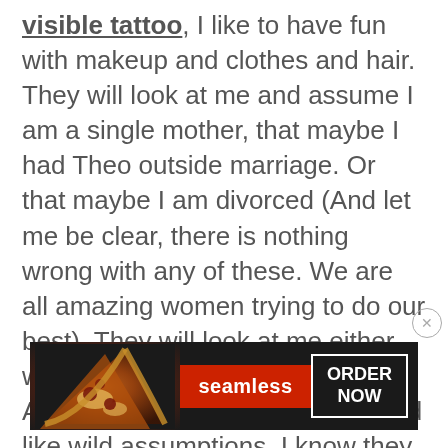visible tattoo, I like to have fun with makeup and clothes and hair. They will look at me and assume I am a single mother, that maybe I had Theo outside marriage. Or that maybe I am divorced (And let me be clear, there is nothing wrong with any of these. We are all amazing women trying to do our best). They will look at me either with disgust or pity. Possibly both. And while I know these may sound like wild assumptions, I know they are real because I have been that married mom out with my son who saw a woman with her child that
[Figure (other): Seamless food delivery advertisement banner with pizza image on left, red Seamless logo badge in center, and 'ORDER NOW' button on dark background]